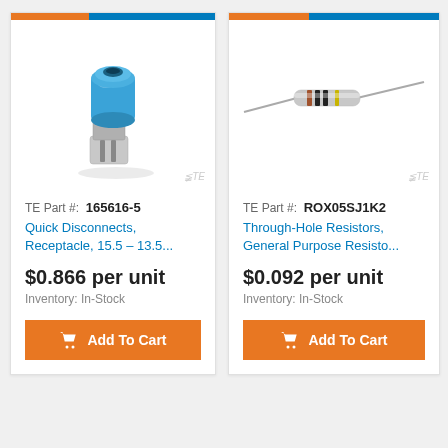[Figure (photo): Blue insulated pin terminal / quick disconnect connector component on white background with TE watermark]
TE Part #: 165616-5
Quick Disconnects, Receptacle, 15.5 – 13.5...
$0.866 per unit
Inventory: In-Stock
[Figure (photo): Through-hole resistor component (axial leaded resistor) on white background with TE watermark, partially visible]
TE Part #: ROX05SJ1K2
Through-Hole Resistors, General Purpose Resisto...
$0.092 per unit
Inventory: In-Stock